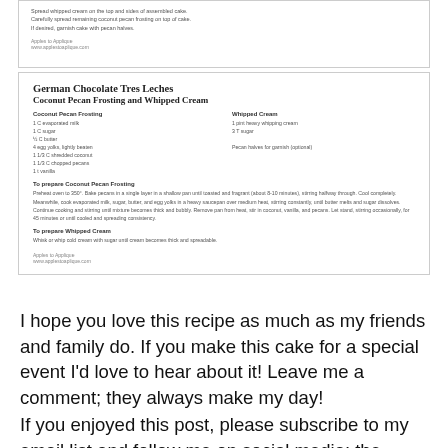[Figure (other): Top portion of a recipe card showing spread whipped cream instructions and Apples to Applique attribution]
[Figure (other): Recipe card for German Chocolate Tres Leches Coconut Pecan Frosting and Whipped Cream with ingredients and instructions]
I hope you love this recipe as much as my friends and family do. If you make this cake for a special event I'd love to hear about it! Leave me a comment; they always make my day!
If you enjoyed this post, please subscribe to my email list and follow me on social media: the buttons are at the top-